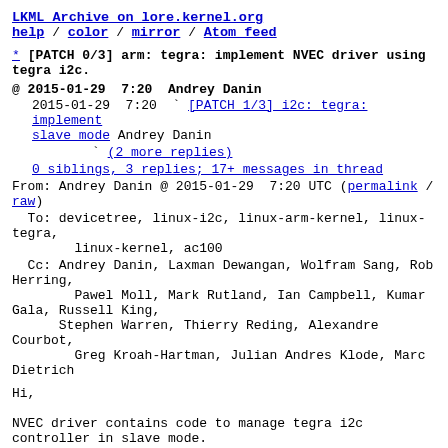LKML Archive on lore.kernel.org
help / color / mirror / Atom feed
* [PATCH 0/3] arm: tegra: implement NVEC driver using tegra i2c.
@ 2015-01-29  7:20  Andrey Danin
  2015-01-29  7:20  ` [PATCH 1/3] i2c: tegra: implement slave mode  Andrey Danin
                    ` (2 more replies)
  0 siblings, 3 replies; 17+ messages in thread
From: Andrey Danin @ 2015-01-29  7:20 UTC (permalink / raw)
To: devicetree, linux-i2c, linux-arm-kernel, linux-tegra,
        linux-kernel, ac100
  Cc: Andrey Danin, Laxman Dewangan, Wolfram Sang, Rob Herring,
          Pawel Moll, Mark Rutland, Ian Campbell, Kumar Gala, Russell King,
          Stephen Warren, Thierry Reding, Alexandre Courbot,
          Greg Kroah-Hartman, Julian Andres Klode, Marc Dietrich
Hi,

NVEC driver contains code to manage tegra i2c
controller in slave mode.
I2C slave support was implemented in linux kernel. The
goal of this